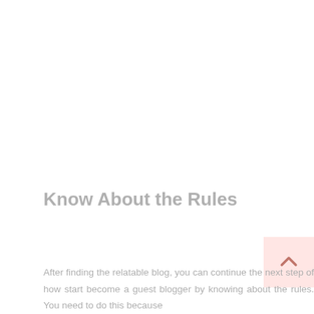Know About the Rules
After finding the relatable blog, you can continue the next step of how start become a guest blogger by knowing about the rules. You need to do this because